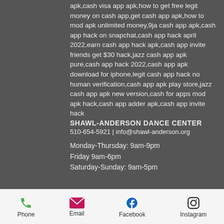apk,cash visa app apk,how to get free legit money on cash app,get cash app apk,how to mod apk unlimited money,9ja cash app apk,cash app hack on snapchat,cash app hack april 2022,earn cash app hack apk,cash app invite friends get $30 hack,jazz cash app apk pure,cash app hack 2022,cash app apk download for iphone,legit cash app hack no human verification,cash app apk play store,jazz cash app apk new version,cash for apps mod apk hack,cash app adder apk,cash app invite hack
SHAWL-ANDERSON DANCE CENTER
510-654-5921 | info@shawl-anderson.org

Monday-Thursday: 9am-9pm
Friday 9am-6pm
Saturday-Sunday: 9am-5pm
Phone  Email  Facebook  Instagram